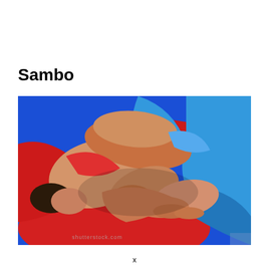Sambo
[Figure (photo): Two sambo wrestlers grappling on the ground, one in red uniform and one in blue uniform, with intertwined arms and hands visible against a bright blue background. Watermark text visible at bottom of image.]
x